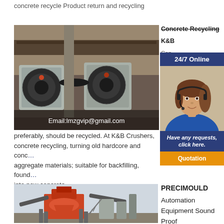concrete recycle Product return and recycling
[Figure (photo): Industrial jaw crusher machines in a workshop setting. Email:lmzgvip@gmail.com overlay text at bottom.]
Concrete Recycling
K&B
Con... dem... mat... safe... tran...
[Figure (infographic): 24/7 Online customer service popup with agent photo, 'Have any requests, click here.' text and Quotation button.]
preferably, should be recycled. At K&B Crushers, concrete recycling, turning old hardcore and concrete aggregate materials; suitable for backfilling, found... into new concrete.
[Figure (photo): Large industrial concrete recycling plant or crusher machine photographed from a low angle.]
PRECIMOULD
Automation
Equipment Sound
Proof